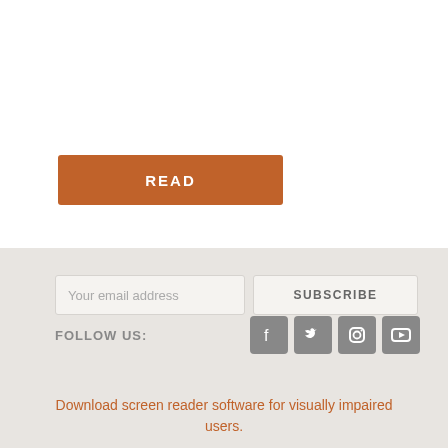[Figure (other): READ button - orange/brown rectangular button with white text]
[Figure (other): Email subscription row with email input field placeholder 'Your email address' and SUBSCRIBE button]
FOLLOW US:
[Figure (other): Social media icons row: Facebook, Twitter, Instagram, YouTube]
Download screen reader software for visually impaired users.